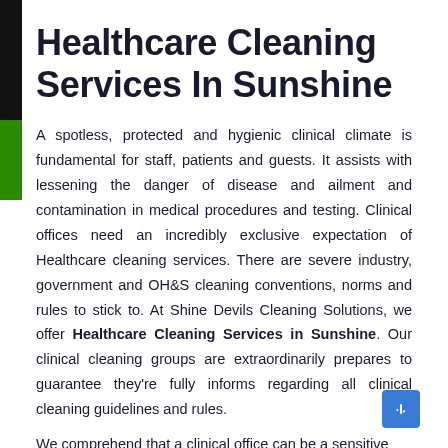Healthcare Cleaning Services In Sunshine
A spotless, protected and hygienic clinical climate is fundamental for staff, patients and guests. It assists with lessening the danger of disease and ailment and contamination in medical procedures and testing. Clinical offices need an incredibly exclusive expectation of Healthcare cleaning services. There are severe industry, government and OH&S cleaning conventions, norms and rules to stick to. At Shine Devils Cleaning Solutions, we offer Healthcare Cleaning Services in Sunshine. Our clinical cleaning groups are extraordinarily prepares to guarantee they're fully informs regarding all clinical cleaning guidelines and rules.
We comprehend that a clinical office can be a sensitive